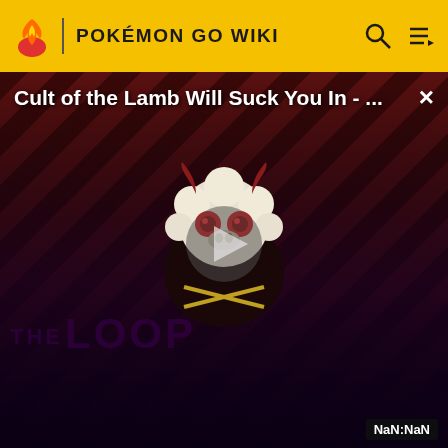POKÉMON GO WIKI
[Figure (screenshot): Video thumbnail for 'Cult of the Lamb Will Suck You In - ...' with a Cult of the Lamb character mascot (demon lamb face with red eyes and horns) on a dark diagonal striped background, with 'THE LOOP' watermark text, a play button triangle in the center, and a NaN:NaN timer label in the bottom right. A close (×) button is in the top right.]
Fandom
Futhead
Cortex RPG
Fanatical
Muthead